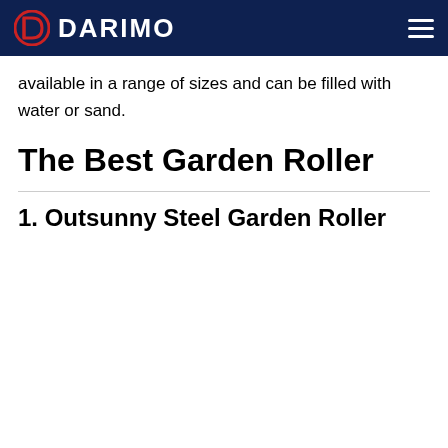DARIMO
available in a range of sizes and can be filled with water or sand.
The Best Garden Roller
1. Outsunny Steel Garden Roller